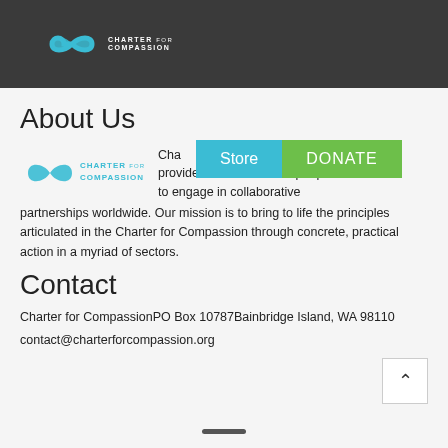[Figure (logo): Charter for Compassion logo with infinity symbol in teal and white text on dark header bar]
About Us
[Figure (logo): Charter for Compassion inline logo with teal infinity symbol and CHARTER FOR COMPASSION text]
Charter for Compassion provides an umbrella for people to engage in collaborative partnerships worldwide. Our mission is to bring to life the principles articulated in the Charter for Compassion through concrete, practical action in a myriad of sectors.
Contact
Charter for CompassionPO Box 10787Bainbridge Island, WA 98110
contact@charterforcompassion.org